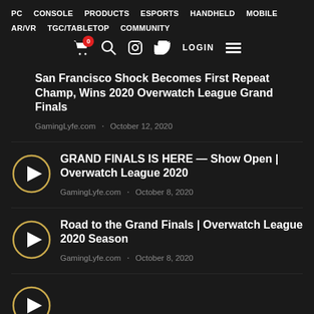PC  CONSOLE  PRODUCTS  ESPORTS  HANDHELD  MOBILE  AR/VR  TGC/TABLETOP  COMMUNITY
San Francisco Shock Becomes First Repeat Champ, Wins 2020 Overwatch League Grand Finals
GamingLyfe.com · October 12, 2020
GRAND FINALS IS HERE — Show Open | Overwatch League 2020
GamingLyfe.com · October 8, 2020
Road to the Grand Finals | Overwatch League 2020 Season
GamingLyfe.com · October 8, 2020